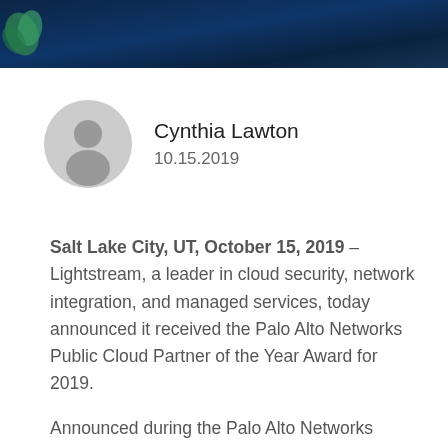[Figure (illustration): Dark navy blue header banner with a green decorative element (leaf/plant shape) in the upper left corner]
Cynthia Lawton
10.15.2019
Salt Lake City, UT, October 15, 2019 – Lightstream, a leader in cloud security, network integration, and managed services, today announced it received the Palo Alto Networks Public Cloud Partner of the Year Award for 2019.
Announced during the Palo Alto Networks